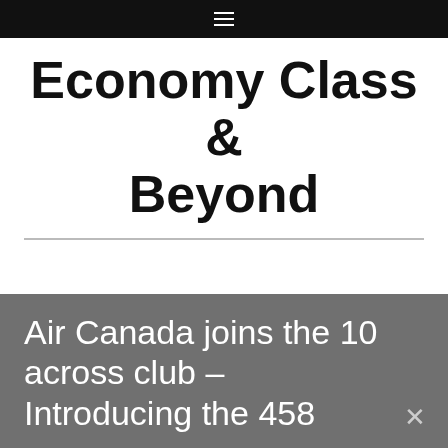≡
Economy Class & Beyond
Air Canada joins the 10 across club – Introducing the 458